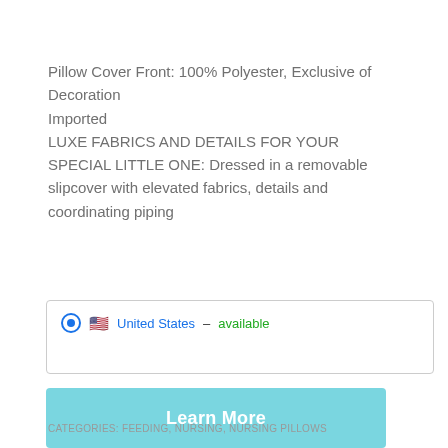Pillow Cover Front: 100% Polyester, Exclusive of Decoration
Imported
LUXE FABRICS AND DETAILS FOR YOUR SPECIAL LITTLE ONE: Dressed in a removable slipcover with elevated fabrics, details and coordinating piping
United States – available
Learn More
CATEGORIES: FEEDING, NURSING, NURSING PILLOWS